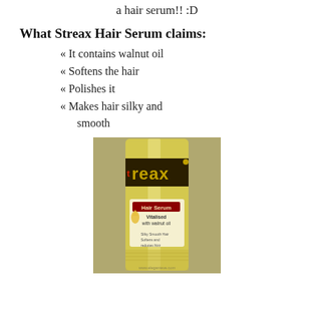a hair serum!! :D
What Streax Hair Serum claims:
« It contains walnut oil
« Softens the hair
« Polishes it
« Makes hair silky and smooth
[Figure (photo): Photo of Streax Hair Serum bottle, a golden/yellow liquid bottle with dark label reading 'reax Hair Serum Vitalised with walnut oil'. Website www.eleganteve.com shown at bottom.]